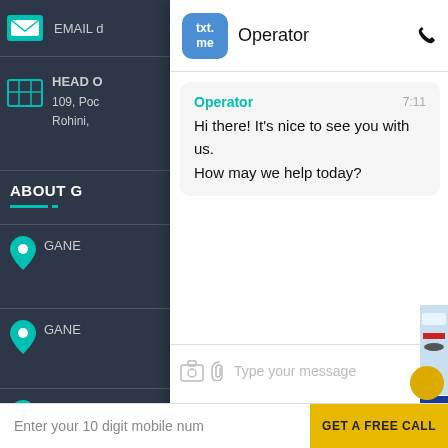[Figure (screenshot): Screenshot of a website contact page with a txt.me live chat widget overlaid on top. The background shows a dark-themed website with email and address information, location icons, and an 'ABOUT G' section. The foreground shows the txt.me chat popup with an Operator greeting message reading 'Hi there! It's nice to see you with us. How may we help today?' at 7:11, a message input field with camera and attachment icons, a send button, 'Powered by txt.me' footer, and a bottom bar with mobile number input and 'GET A FREE CALL' button.]